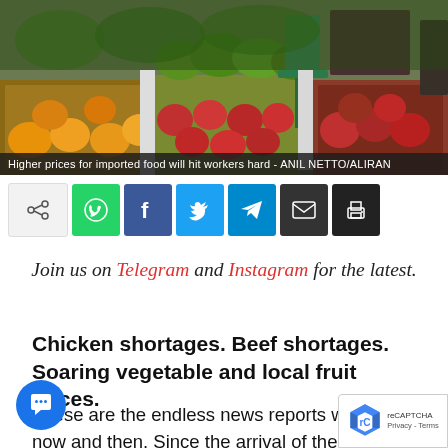[Figure (photo): Market stall showing fruits and vegetables in boxes and trays, including oranges, apples, pomegranates and green vegetables]
Higher prices for imported food will hit workers hard - ANIL NETTO/ALIRAN
[Figure (infographic): Social media share bar with buttons for share, WhatsApp, Facebook, Twitter, Telegram, Email, Print]
Join us on Telegram and Instagram for the latest.
Chicken shortages. Beef shortages. Soaring vegetable and local fruit prices.
These are the endless news reports we face now and then. Since the arrival of the Covid pandemic, the situation has only got wors…